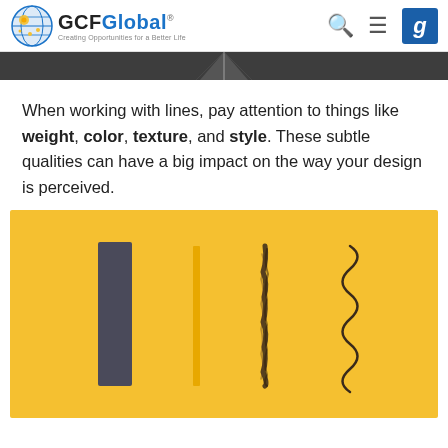GCFGlobal — Creating Opportunities for a Better Life
[Figure (photo): Dark gray banner image, partial view of a road or pathway converging to a point, top portion cropped]
When working with lines, pay attention to things like weight, color, texture, and style. These subtle qualities can have a big impact on the way your design is perceived.
[Figure (illustration): Yellow background illustration showing four vertical lines with different qualities: a thick dark gray/charcoal wide rectangle (heavy weight), a thin yellow vertical line (light weight/color), a rough textured dark vertical stroke (texture), and a curly/wavy dark squiggle line (style)]